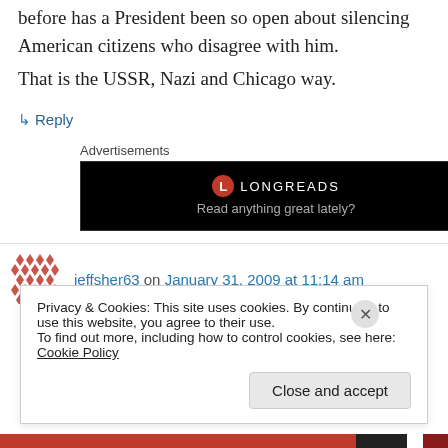before has a President been so open about silencing American citizens who disagree with him.
That is the USSR, Nazi and Chicago way.
↳ Reply
Advertisements
[Figure (screenshot): Longreads advertisement banner with logo and tagline 'Read anything great lately?']
jeffsher63 on January 31, 2009 at 11:14 am
Privacy & Cookies: This site uses cookies. By continuing to use this website, you agree to their use.
To find out more, including how to control cookies, see here: Cookie Policy